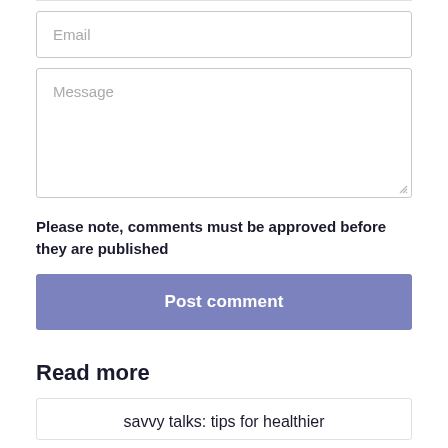[Figure (screenshot): Email input field with placeholder text 'Email']
[Figure (screenshot): Message textarea with placeholder text 'Message' and resize handle in bottom-right corner]
Please note, comments must be approved before they are published
[Figure (screenshot): Blue-purple 'Post comment' button]
Read more
[Figure (screenshot): Card with text 'savvy talks: tips for healthier']